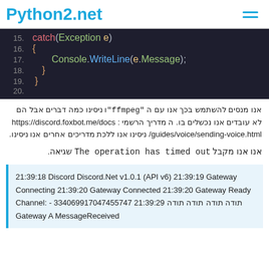Python2.net
[Figure (screenshot): Dark-themed code editor showing lines 15-20 of C# code with catch(Exception e) block containing Console.WriteLine(e.Message)]
אנו מנסים להשתמש בכך אנו עם ה "ffmpeg" וניסינו כמה דברים אבל הם לא עובדים אנו נכשלים בו. ה מדריך הרשמי : https://discord.foxbot.me/docs/guides/voice/sending-voice.html ניסינו אנו ללכת מדריכים אחרים אנו ניסינו.
אנו אנו מקבל The operation has timed out שגיאה.
21:39:18 Discord Discord.Net v1.0.1 (API v6) 21:39:19 Gateway Connecting 21:39:20 Gateway Connected 21:39:20 Gateway Ready Channel: - תודה תודה תודה תודה 21:39:29 334069917047455747 Gateway A MessageReceived